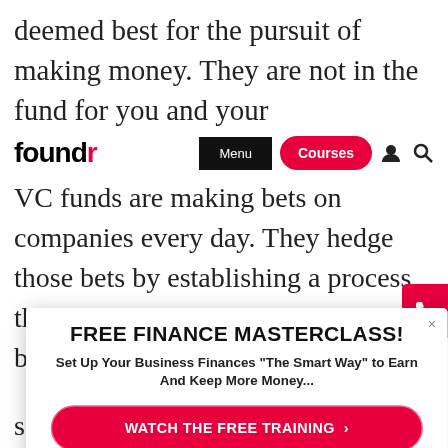deemed best for the pursuit of making money. They are not in the fund for you and your
[Figure (screenshot): Foundr website navigation bar with logo 'foundr' (r in red), black Menu button, red Courses button, user icon, and search icon]
VC funds are making bets on companies every day. They hedge those bets by establishing a process that vets entrepreneurs and their b[usinesses and decide whether] to go th[rough the process] p[... framework,] a[... ns that s[...
[Figure (screenshot): Popup modal: FREE FINANCE MASTERCLASS! Set Up Your Business Finances 'The Smart Way' to Earn And Keep More Money... WATCH THE FREE TRAINING > button in red, and NO THANKS, I'M NOT INTERESTED > link below]